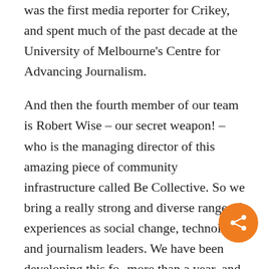Meg was at The Age for a long time, and was the first media reporter for Crikey, and spent much of the past decade at the University of Melbourne's Centre for Advancing Journalism.
And then the fourth member of our team is Robert Wise – our secret weapon! – who is the managing director of this amazing piece of community infrastructure called Be Collective. So we bring a really strong and diverse range of experiences as social change, technology and journalism leaders. We have been developing this for more than a year, and are really excited to
[Figure (other): Orange circular share button with a share/network icon in white]